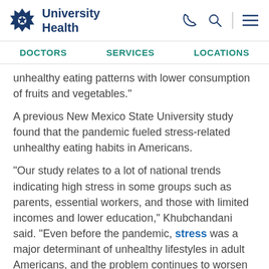University Health
DOCTORS   SERVICES   LOCATIONS
unhealthy eating patterns with lower consumption of fruits and vegetables."
A previous New Mexico State University study found that the pandemic fueled stress-related unhealthy eating habits in Americans.
"Our study relates to a lot of national trends indicating high stress in some groups such as parents, essential workers, and those with limited incomes and lower education," Khubchandani said. "Even before the pandemic, stress was a major determinant of unhealthy lifestyles in adult Americans, and the problem continues to worsen